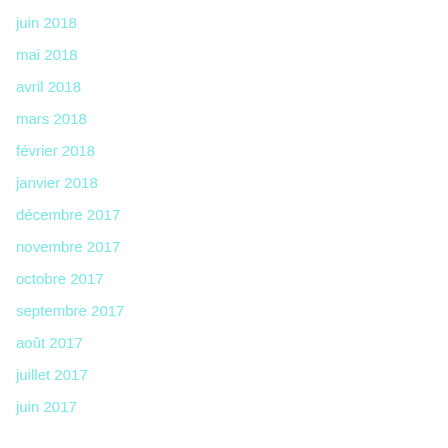juin 2018
mai 2018
avril 2018
mars 2018
février 2018
janvier 2018
décembre 2017
novembre 2017
octobre 2017
septembre 2017
août 2017
juillet 2017
juin 2017